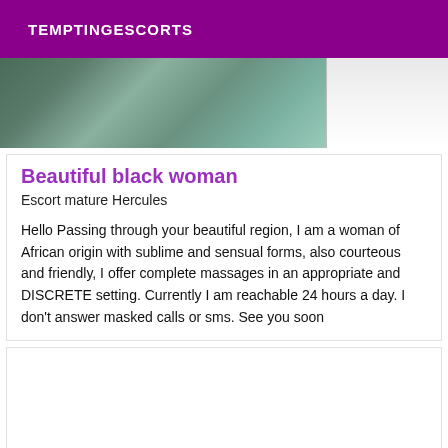TEMPTINGESCORTS
[Figure (photo): Partial photo showing a person against a blue checkered background, cropped at the top]
Beautiful black woman
Escort mature Hercules
Hello Passing through your beautiful region, I am a woman of African origin with sublime and sensual forms, also courteous and friendly, I offer complete massages in an appropriate and DISCRETE setting. Currently I am reachable 24 hours a day. I don't answer masked calls or sms. See you soon
[Figure (photo): Second card with photo, content not visible]